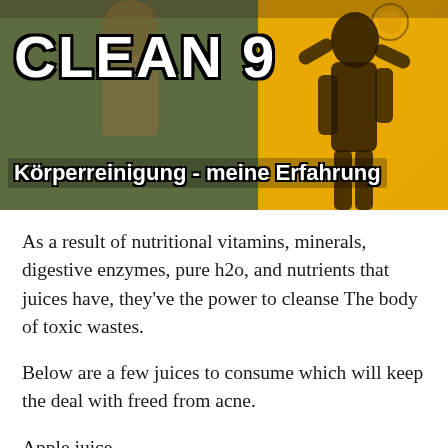[Figure (photo): Header image for 'CLEAN 9 Körperreinigung - meine Erfahrung' showing a person in a yellow shirt against a mixed green/yellow-orange background with a silhouette figure on the right. Bold white text with black outline displays 'CLEAN 9' and subtitle.]
As a result of nutritional vitamins, minerals, digestive enzymes, pure h2o, and nutrients that juices have, they've the power to cleanse The body of toxic wastes.
Below are a few juices to consume which will keep the deal with freed from acne.
Apple juice